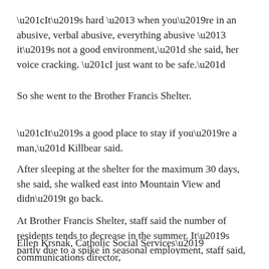“It’s hard – when you’re in an abusive, verbal abusive, everything abusive – it’s not a good environment,” she said, her voice cracking. “I just want to be safe.”
So she went to the Brother Francis Shelter.
“It’s a good place to stay if you’re a man,” Killbear said.
After sleeping at the shelter for the maximum 30 days, she said, she walked east into Mountain View and didn’t go back.
At Brother Francis Shelter, staff said the number of residents tends to decrease in the summer. It’s partly due to a spike in seasonal employment, staff said, but also because of an increase in outdoor camping during the warmer months.
Ellen Krsnak, Catholic Social Services’ communications director,